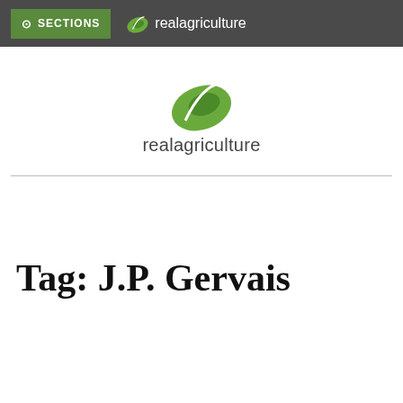SECTIONS  realagriculture
[Figure (logo): RealAgriculture logo with green leaf icon above the text 'realagriculture']
Tag: J.P. Gervais